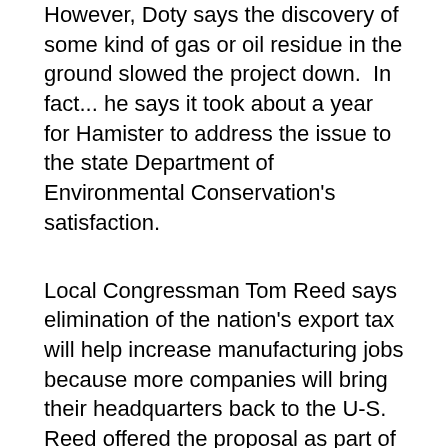However, Doty says the discovery of some kind of gas or oil residue in the ground slowed the project down.  In fact... he says it took about a year for Hamister to address the issue to the state Department of Environmental Conservation's satisfaction.
Local Congressman Tom Reed says elimination of the nation's export tax will help increase manufacturing jobs because more companies will bring their headquarters back to the U-S.  Reed offered the proposal as part of the House Republican's plan to cut, and streamline the 70-thousand page tax code.  During his weekly conference call with Southern Tier Media... the Corning Republican said a "simpler and fairer" tax code is the "right policy...."  Reed believes that eliminating the United States' export tax will intice the return of at least some of the 14 of the top 20 largest corporations... who have moved their headquarters out of the country since the 1960s.  He also noted that -- under the GOP Plan -- the individual tax